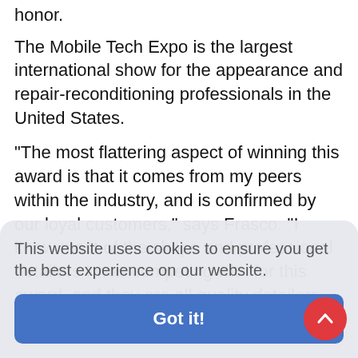honor.
The Mobile Tech Expo is the largest international show for the appearance and repair-reconditioning professionals in the United States.
“The most flattering aspect of winning this award is that it comes from my peers within the industry, and is confirmed by our loyal customers,” says Frasco. “I know most of the shops and professional detailers I was competing with for this award, and they are all quality detailers with successful mobile detailing
This website uses cookies to ensure you get the best experience on our website.
Got it!
proandlocal@gmail.com You may also